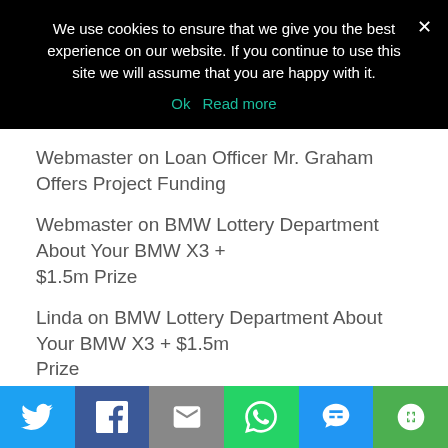We use cookies to ensure that we give you the best experience on our website. If you continue to use this site we will assume that you are happy with it.
Ok   Read more
Webmaster on Loan Officer Mr. Graham Offers Project Funding
Webmaster on BMW Lottery Department About Your BMW X3 + $1.5m Prize
Linda on BMW Lottery Department About Your BMW X3 + $1.5m Prize
Gary D Barnaby on Loan Officer Mr. Graham Offers Project Funding
Ashley on Four Million Euro Donation From Mrs. Melissa Lewis